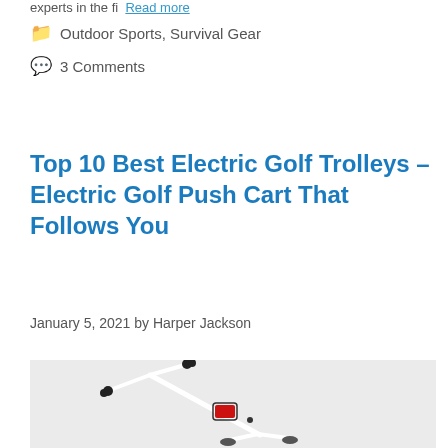experts in the fi  Read more
Outdoor Sports, Survival Gear
3 Comments
Top 10 Best Electric Golf Trolleys – Electric Golf Push Cart That Follows You
January 5, 2021 by Harper Jackson
[Figure (photo): Electric golf trolley/push cart, white frame with black handlebars and red accents, shown from above on a light grey background]